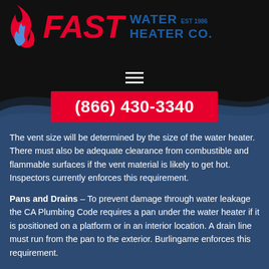[Figure (logo): Fast Water Heater Co. logo with flame icon, red FAST text, blue WATER HEATER CO. text, EST 1986]
[Figure (other): Hamburger menu icon (three horizontal bars)]
(866) 430-3340
The vent size will be determined by the size of the water heater. There must also be adequate clearance from combustible and flammable surfaces if the vent material is likely to get hot. Inspectors currently enforces this requirement.
Pans and Drains – To prevent damage through water leakage the CA Plumbing Code requires a pan under the water heater if it is positioned on a platform or in an interior location. A drain line must run from the pan to the exterior. Burlingame enforces this requirement.